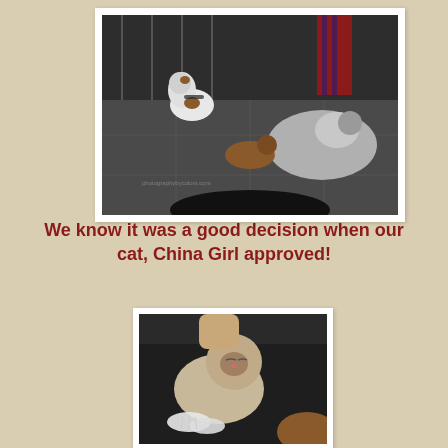[Figure (photo): Overhead/bird's eye view photo of multiple dogs (including a Jack Russell terrier with harness, a small brown dog, and a large husky-type dog lying down) on a tiled floor with a fence in the background and a person in plaid pants visible. Framed in white like a printed photo.]
We know it was a good decision when our cat, China Girl approved!
[Figure (photo): Close-up photo of a Siamese or similar cat with light fur sleeping or resting on a dark surface, with white paws visible and a brown leather surface in the lower right corner. Framed in white like a printed photo.]